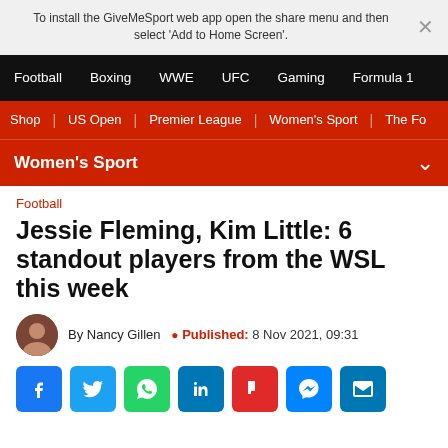To install the GiveMeSport web app open the share menu and then select 'Add to Home Screen'.
Football | Boxing | WWE | UFC | Gaming | Formula 1
Shop | US Open | Premier League | Women's Sport | The Fo
Women's Sport
Football
Jessie Fleming, Kim Little: 6 standout players from the WSL this week
By Nancy Gillen  Published: 8 Nov 2021, 09:31
[Figure (other): Social sharing icons: Facebook, Twitter, WhatsApp, LinkedIn, Flipboard, Messenger, Email]